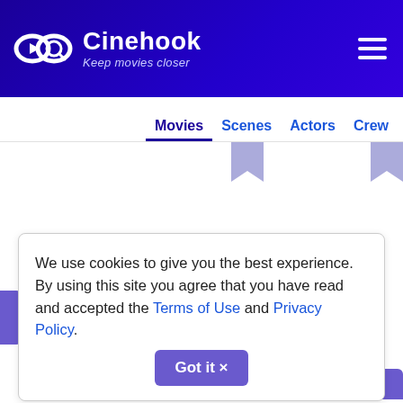Cinehook — Keep movies closer
Movies  Scenes  Actors  Crew
[Figure (screenshot): Cinehook website content area with two columns separated by a vertical line, each showing a bookmark icon at the top]
We use cookies to give you the best experience. By using this site you agree that you have read and accepted the Terms of Use and Privacy Policy. Got it ×